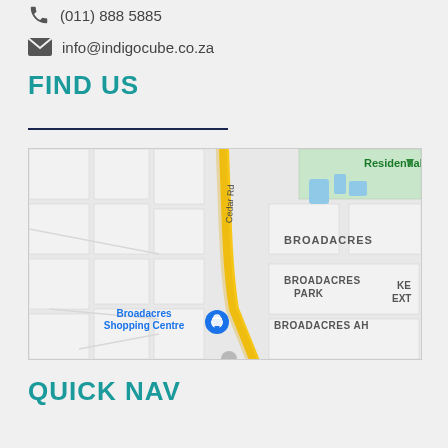info@indigocube.co.za
FIND US
[Figure (map): Google Maps view showing Broadacres area with Cedar Rd highlighted in yellow/orange. Shows Broadacres Shopping Centre with a location pin, Broadacres, Broadacres Park, Broadacres AH labels, and Residential Estate in upper right.]
QUICK NAV